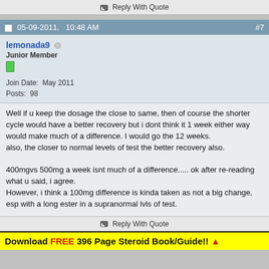Reply With Quote
05-09-2011, 10:48 AM  #7
lemonada9  Junior Member
Join Date: May 2011
Posts: 98
Well if u keep the dosage the close to same, then of course the shorter cycle would have a better recovery but i dont think it 1 week either way would make much of a difference. I would go the 12 weeks.
also, the closer to normal levels of test the better recovery also.

400mgvs 500mg a week isnt much of a difference..... ok after re-reading what u said, i agree.
However, i think a 100mg difference is kinda taken as not a big change, esp with a long ester in a supranormal lvls of test.
Reply With Quote
Download FREE 396 Page Steroid Book/Guide!! ▲